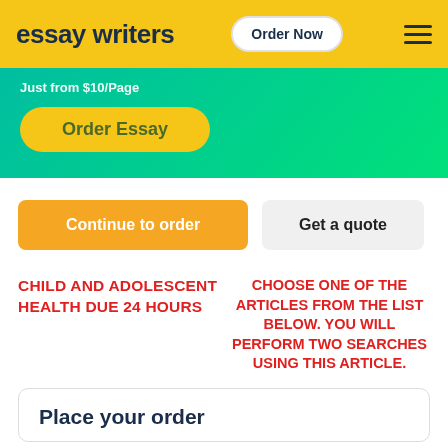essay writers | Order Now
Just from $10/Page
Order Essay
Continue to order
Get a quote
CHILD AND ADOLESCENT HEALTH DUE 24 HOURS
CHOOSE ONE OF THE ARTICLES FROM THE LIST BELOW. YOU WILL PERFORM TWO SEARCHES USING THIS ARTICLE.
Place your order